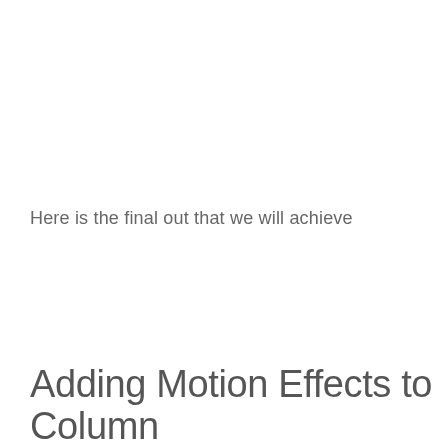Here is the final out that we will achieve
Adding Motion Effects to Column